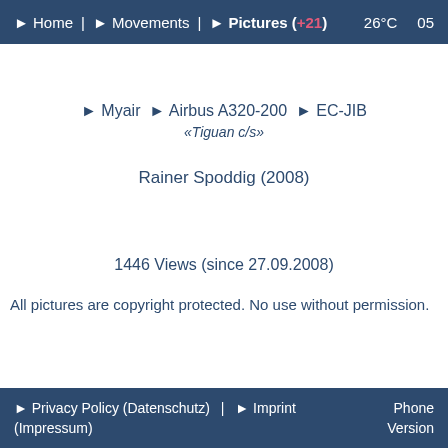► Home | ► Movements | ► Pictures (+21)   26°C   05
► Myair ► Airbus A320-200 ► EC-JIB
«Tiguan c/s»
Rainer Spoddig (2008)
1446 Views (since 27.09.2008)
All pictures are copyright protected. No use without permission.
► Privacy Policy (Datenschutz) | ► Imprint (Impressum)   Phone Version